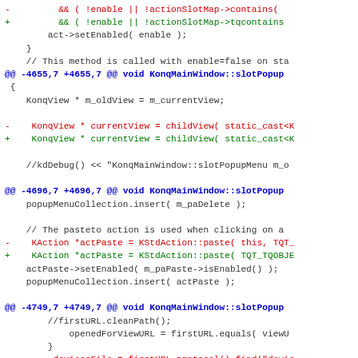Code diff showing changes to KonqMainWindow methods including actionSlotMap->tqcontains, childView static_cast, KStdAction::paste TQT_TQOBJECT, and firstURL.protocol().tqfind changes